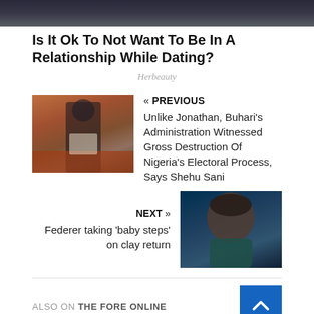[Figure (photo): Dark night sky/mountain landscape banner image at top of page]
Is It Ok To Not Want To Be In A Relationship While Dating?
Herbeauty
[Figure (photo): Thumbnail of a man in a suit standing at a podium in what appears to be a legislative chamber]
« PREVIOUS
Unlike Jonathan, Buhari's Administration Witnessed Gross Destruction Of Nigeria's Electoral Process, Says Shehu Sani
NEXT »
Federer taking 'baby steps' on clay return
[Figure (photo): Thumbnail of Roger Federer in a dark teal shirt against a dark background]
ALSO ON THE FORE ONLINE
[Figure (photo): Small thumbnail image - green tones, appears to be flag/outdoor scene]
[Figure (photo): Small thumbnail image - reddish/brown tones]